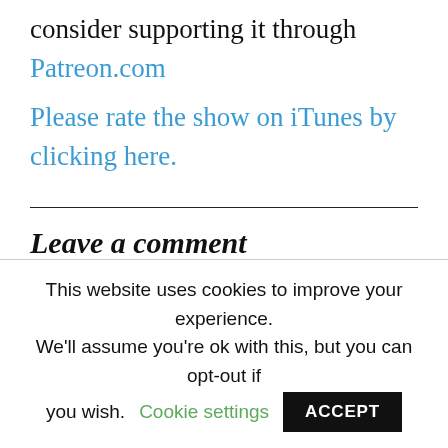consider supporting it through Patreon.com
Please rate the show on iTunes by clicking here.
Leave a comment
This website uses cookies to improve your experience. We'll assume you're ok with this, but you can opt-out if you wish.  Cookie settings  ACCEPT